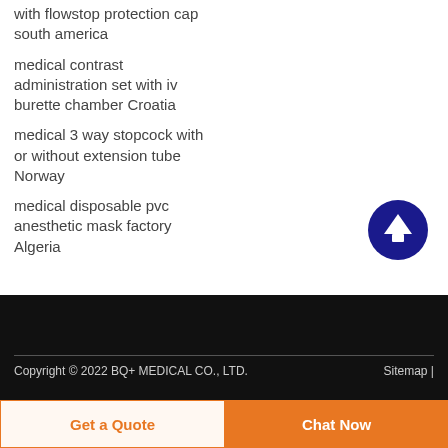with flowstop protection cap south america
medical contrast administration set with iv burette chamber Croatia
medical 3 way stopcock with or without extension tube Norway
medical disposable pvc anesthetic mask factory Algeria
Copyright © 2022 BQ+ MEDICAL CO., LTD.   Sitemap |